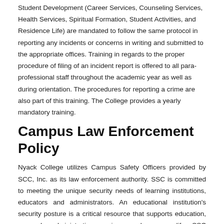Student Development (Career Services, Counseling Services, Health Services, Spiritual Formation, Student Activities, and Residence Life) are mandated to follow the same protocol in reporting any incidents or concerns in writing and submitted to the appropriate offices. Training in regards to the proper procedure of filing of an incident report is offered to all para-professional staff throughout the academic year as well as during orientation. The procedures for reporting a crime are also part of this training. The College provides a yearly mandatory training.
Campus Law Enforcement Policy
Nyack College utilizes Campus Safety Officers provided by SCC, Inc. as its law enforcement authority. SSC is committed to meeting the unique security needs of learning institutions, educators and administrators. An educational institution's security posture is a critical resource that supports education, research, administrative services, and campus life. SSC security experts utilize best practices and emerging trends in educational institution security to assist Nyack College in providing an atmosphere that is both welcoming and secure.